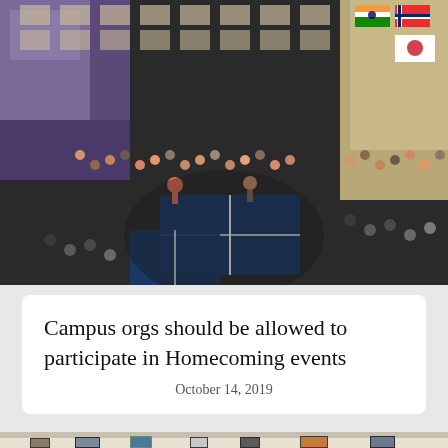[Figure (photo): Aerial/overhead view of a campus building interior with students gathered around ping pong tables, international flags visible on the right side of the room]
Campus orgs should be allowed to participate in Homecoming events
October 14, 2019
[Figure (photo): Interior of an art gallery with framed artwork hanging on white walls]